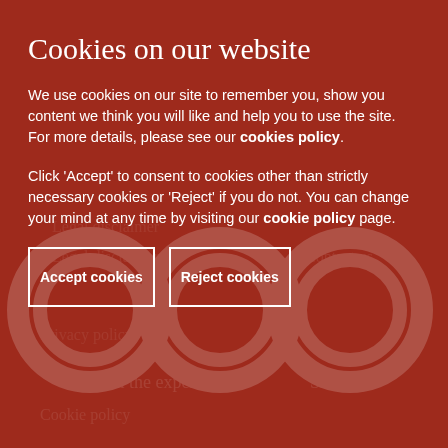Cookies on our website
We use cookies on our site to remember you, show you content we think you will like and help you to use the site. For more details, please see our cookies policy.
Click 'Accept' to consent to cookies other than strictly necessary cookies or 'Reject' if you do not. You can change your mind at any time by visiting our cookie policy page.
Accept cookies
Reject cookies